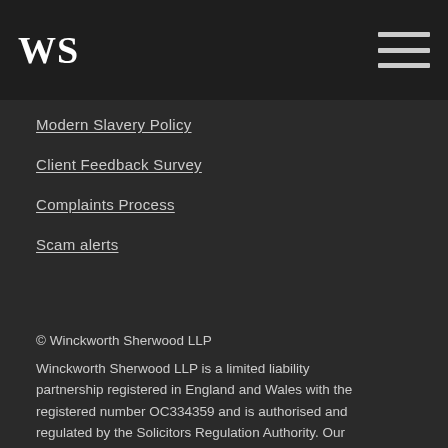[Figure (logo): WS logo in white serif font on dark background]
Modern Slavery Policy
Client Feedback Survey
Complaints Process
Scam alerts
© Winckworth Sherwood LLP Winckworth Sherwood LLP is a limited liability partnership registered in England and Wales with the registered number OC334359 and is authorised and regulated by the Solicitors Regulation Authority. Our VAT registration number is 183 8680 66. A list of members is open to inspection at the registered office, Minerva House, 5 Montague Close, London SE1 9BB. The term 'partner' is used to refer to a